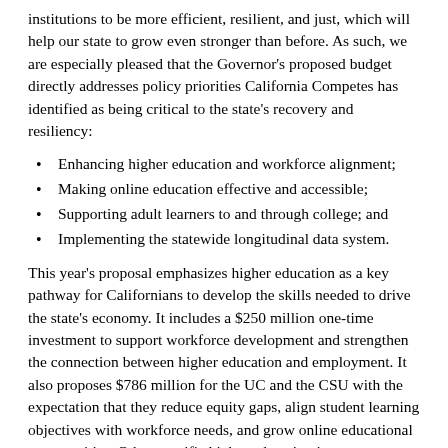institutions to be more efficient, resilient, and just, which will help our state to grow even stronger than before. As such, we are especially pleased that the Governor's proposed budget directly addresses policy priorities California Competes has identified as being critical to the state's recovery and resiliency:
Enhancing higher education and workforce alignment;
Making online education effective and accessible;
Supporting adult learners to and through college; and
Implementing the statewide longitudinal data system.
This year's proposal emphasizes higher education as a key pathway for Californians to develop the skills needed to drive the state's economy. It includes a $250 million one-time investment to support workforce development and strengthen the connection between higher education and employment. It also proposes $786 million for the UC and the CSU with the expectation that they reduce equity gaps, align student learning objectives with workforce needs, and grow online educational opportunities. Other specific higher education investments include: